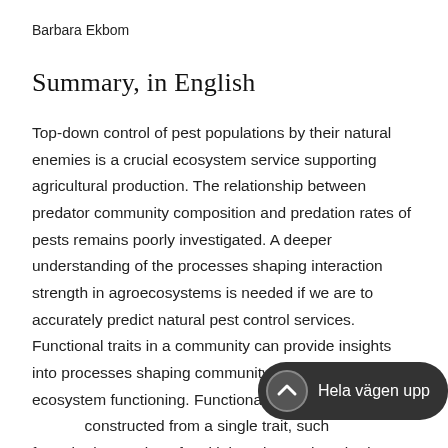Barbara Ekbom
Summary, in English
Top-down control of pest populations by their natural enemies is a crucial ecosystem service supporting agricultural production. The relationship between predator community composition and predation rates of pests remains poorly investigated. A deeper understanding of the processes shaping interaction strength in agroecosystems is needed if we are to accurately predict natural pest control services. Functional traits in a community can provide insights into processes shaping community assembly and ecosystem functioning. Functional diversity inc[luding indices] constructed from a single trait, such [as those] from the integration of multiple traits, such as body